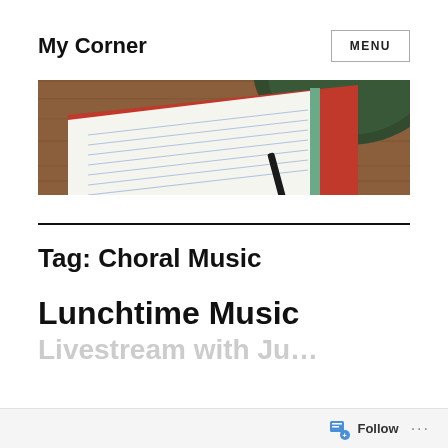My Corner
MENU
[Figure (photo): Overhead view of an open lined notebook with a red cover and a dark green circular object (cup/bowl) on a wooden surface]
Tag: Choral Music
Lunchtime Music
Livestream with Ju…